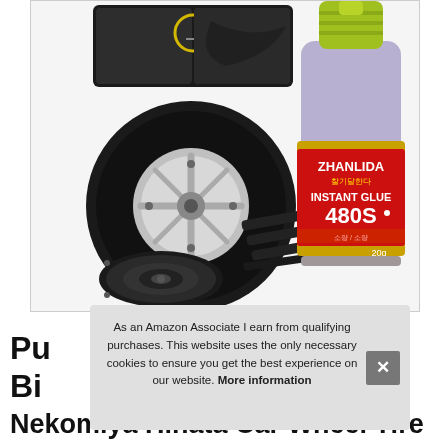[Figure (photo): Product collage showing a car tire, rubber weatherstripping, a speaker/subwoofer, close-up photos of rubber seals on a vehicle, and a bottle of Zhanlida Instant Glue 480S (20g)]
As an Amazon Associate I earn from qualifying purchases. This website uses the only necessary cookies to ensure you get the best experience on our website. More information
Pu Bi Nekomiya Hinata Car Wheel Tire